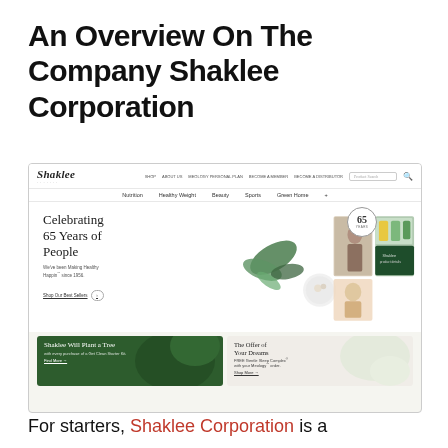An Overview On The Company Shaklee Corporation
[Figure (screenshot): Screenshot of the Shaklee Corporation website homepage showing the Shaklee logo, navigation menu with items: Nutrition, Healthy Weight, Beauty, Sports, Green Home, a hero section reading 'Celebrating 65 Years of People - We've been Making Healthy Happin since 1956. Shop Our Best Sellers', promotional banners: 'Shaklee Will Plant a Tree with every purchase of a Get Clean Starter Kit', and 'The Offer of Your Dreams FREE Gentle Sleep Complex with your Meology order']
For starters, Shaklee Corporation is a